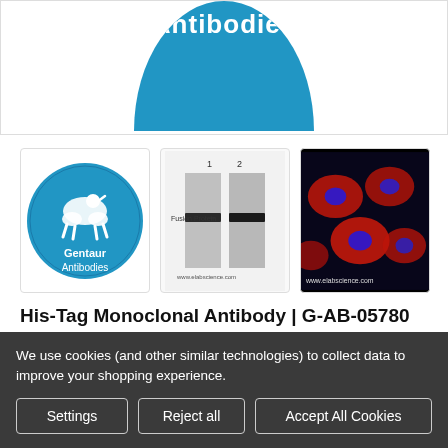[Figure (logo): Partial blue circle with white text 'Antibodies' at top of page]
[Figure (logo): Gentaur Antibodies circular blue logo with centaur figure]
[Figure (other): Western blot image showing two lanes with Fusion Protein band marked, www.elabscience.com watermark]
[Figure (photo): Immunofluorescence image showing cells with red cytoplasmic staining and blue nuclear staining, www.elabscience.com watermark]
His-Tag Monoclonal Antibody | G-AB-05780
Gentaur Antibodies
We use cookies (and other similar technologies) to collect data to improve your shopping experience.